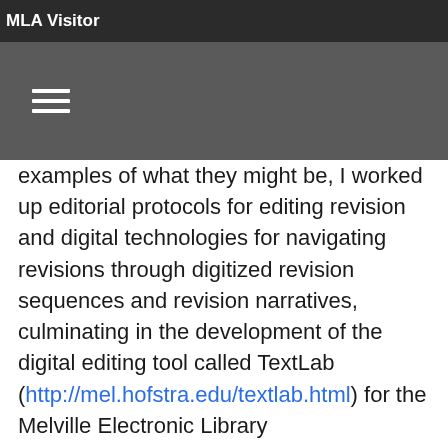MLA Visitor
examples of what they might be, I worked up editorial protocols for editing revision and digital technologies for navigating revisions through digitized revision sequences and revision narratives, culminating in the development of the digital editing tool called TextLab (http://mel.hofstra.edu/textlab.html) for the Melville Electronic Library (http://mel.hofstra.edu/).   In short, I was enlisting digital means to solve certain problems of critical editing, in particular the